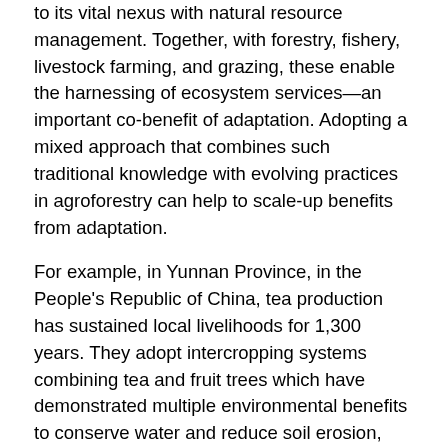to its vital nexus with natural resource management. Together, with forestry, fishery, livestock farming, and grazing, these enable the harnessing of ecosystem services—an important co-benefit of adaptation. Adopting a mixed approach that combines such traditional knowledge with evolving practices in agroforestry can help to scale-up benefits from adaptation.
For example, in Yunnan Province, in the People's Republic of China, tea production has sustained local livelihoods for 1,300 years. They adopt intercropping systems combining tea and fruit trees which have demonstrated multiple environmental benefits to conserve water and reduce soil erosion, increase organic soil matter, suppress weeds and pests, and provide shade.
In Japan, another example of agroforestry has been...